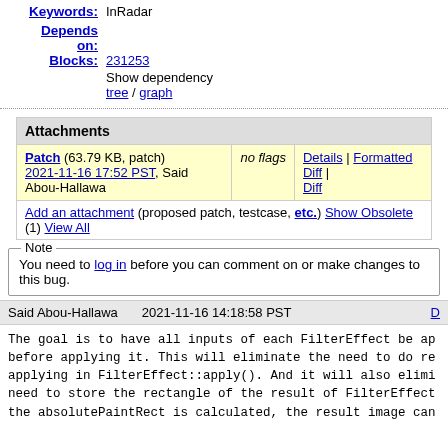Keywords: InRadar
Depends on:
Blocks: 231253
Show dependency tree / graph
| Attachments |  |  |
| --- | --- | --- |
| Patch (63.79 KB, patch)
2021-11-16 17:52 PST, Said Abou-Hallawa | no flags | Details | Formatted Diff | Diff |
| Add an attachment (proposed patch, testcase, etc.) Show Obsolete (1) View All |  |  |
Note
You need to log in before you can comment on or make changes to this bug.
Said Abou-Hallawa    2021-11-16 14:18:58 PST
The goal is to have all inputs of each FilterEffect be ap before applying it. This will eliminate the need to do re applying in FilterEffect::apply(). And it will also elimi need to store the rectangle of the result of FilterEffect the absolutePaintRect is calculated, the result image can